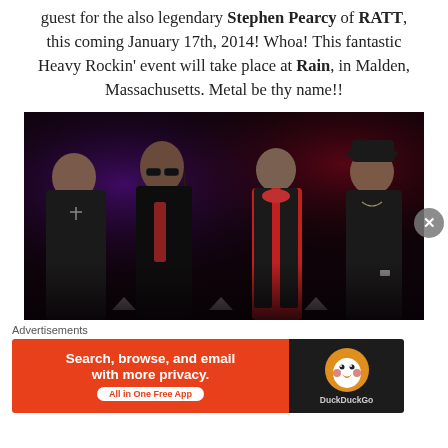guest for the also legendary Stephen Pearcy of RATT, this coming January 17th, 2014! Whoa! This fantastic Heavy Rockin' event will take place at Rain, in Malden, Massachusetts. Metal be thy name!!
[Figure (photo): Band photo of four men standing against a dark stage background with purple and red lighting. Left to right: man in black leather jacket with cross necklace; man with long hair and sunglasses in black outfit holding lapels; man in black vest with red shirt and red bandana; man in black sleeveless vest and hat.]
Advertisements
[Figure (screenshot): DuckDuckGo advertisement banner. Left side: orange background with text 'Search, browse, and email with more privacy.' and 'All in One Free App' button. Right side: black background with DuckDuckGo duck logo and 'DuckDuckGo' text.]